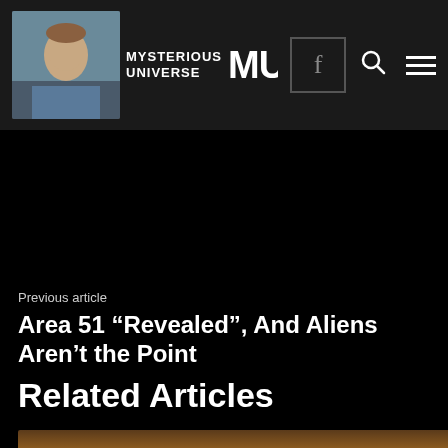Mysterious Universe
Previous article
Area 51 “Revealed”, And Aliens Aren’t the Point
Related Articles